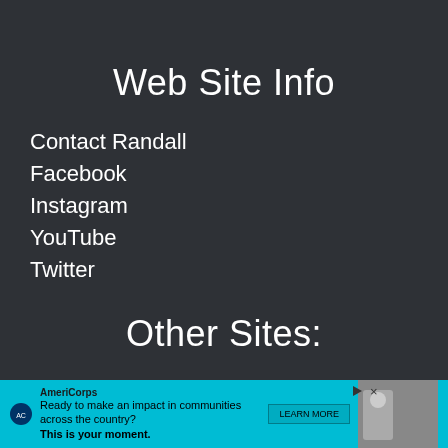Web Site Info
Contact Randall
Facebook
Instagram
YouTube
Twitter
Other Sites:
Train Your Accent
Dailyesl
EZslang
Tips4students
Hiking
[Figure (other): AmeriCorps advertisement banner: 'Ready to make an impact in communities across the country? This is your moment. LEARN MORE']